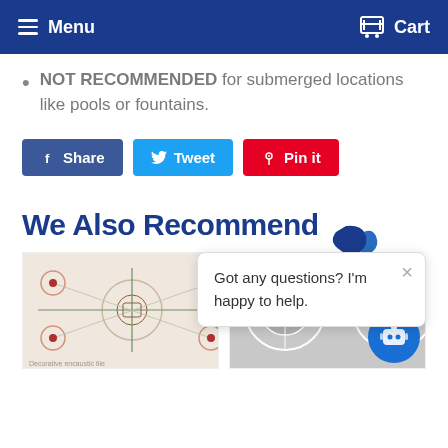Menu   Cart
NOT RECOMMENDED for submerged locations like pools or fountains.
[Figure (screenshot): Social share buttons: Share (Facebook, blue), Tweet (Twitter, light blue), Pin it (Pinterest, red)]
We Also Recommend
[Figure (photo): Decorative encaustic cement tile with floral and botanical pattern in green, pink/salmon, and gray on white background]
[Figure (photo): Decorative cement tile with circular mandala-like pattern in gray and white]
[Figure (screenshot): Chat popup widget with logo, close button, and message: Got any questions? I'm happy to help.]